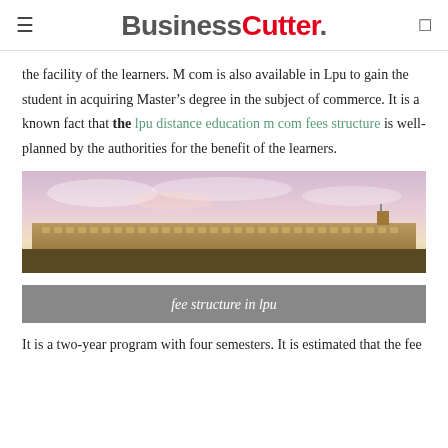BusinessCutter.
the facility of the learners. M com is also available in Lpu to gain the student in acquiring Master's degree in the subject of commerce. It is a known fact that the lpu distance education m com fees structure is well-planned by the authorities for the benefit of the learners.
[Figure (photo): Wide panoramic photo of a large institutional building (likely LPU campus) under a pink and purple sky at dusk.]
fee structure in lpu
It is a two-year program with four semesters. It is estimated that the fee